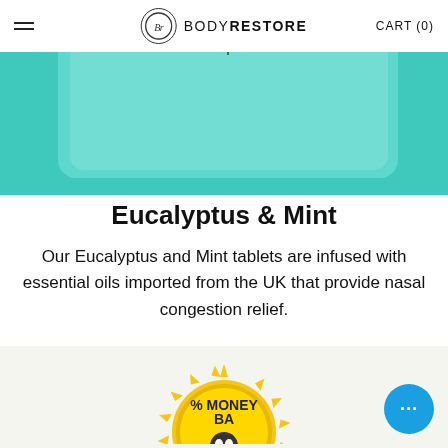BODYRESTORE  CART (0)
[Figure (photo): Product photo of a teal/mint-colored shower tablet box with a green mint leaf on top, on a teal background]
Eucalyptus & Mint
Our Eucalyptus and Mint tablets are infused with essential oils imported from the UK that provide nasal congestion relief.
[Figure (photo): Gold badge seal with text '% MONEY BA' (partially visible) and a figure icon, on a light beige/cream background]